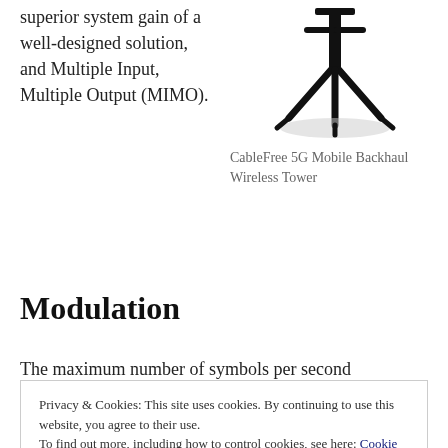superior system gain of a well-designed solution, and Multiple Input, Multiple Output (MIMO).
[Figure (illustration): CableFree 5G Mobile Backhaul Wireless Tower icon — black silhouette of a wireless tower on a stand]
CableFree 5G Mobile Backhaul Wireless Tower
Modulation
The maximum number of symbols per second transmitted can be…
Privacy & Cookies: This site uses cookies. By continuing to use this website, you agree to their use.
To find out more, including how to control cookies, see here: Cookie Policy
increase